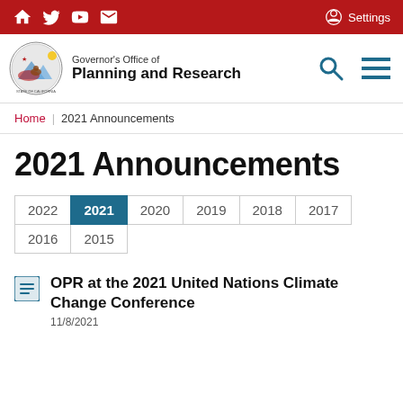Governor's Office of Planning and Research — Settings
Home | 2021 Announcements
2021 Announcements
2022 | 2021 | 2020 | 2019 | 2018 | 2017 | 2016 | 2015
OPR at the 2021 United Nations Climate Change Conference
11/8/2021